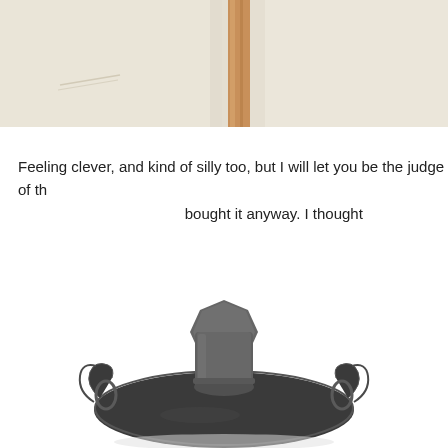[Figure (photo): Close-up photo of a light cream/beige fabric or canvas surface with a vertical wooden rod or stick in the center-right area. The surface has subtle texture and faint markings.]
Feeling clever, and kind of silly too, but I will let you be the judge of th bought it anyway. I thought
[Figure (photo): Close-up photo of a dark gray/black ornate metal object, possibly an antique inkwell or decorative dish with scrollwork and a cylindrical cup or holder on top. The object sits on a white background.]